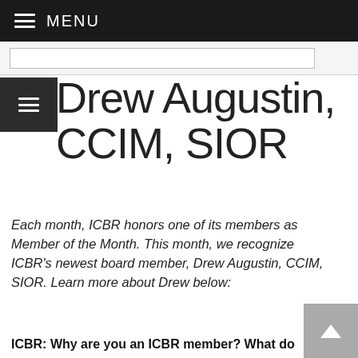MENU
Drew Augustin, CCIM, SIOR
Each month, ICBR honors one of its members as Member of the Month. This month, we recognize ICBR's newest board member, Drew Augustin, CCIM, SIOR. Learn more about Drew below:
ICBR: Why are you an ICBR member? What do you